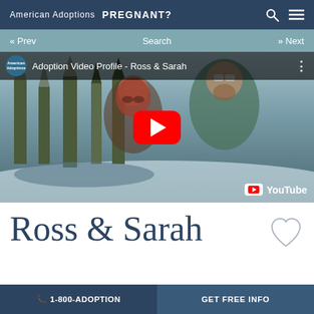American Adoptions  PREGNANT?
« Prev   Search   » Next
[Figure (screenshot): YouTube video thumbnail showing 'Adoption Video Profile - Ross & Sarah' with a couple posing outdoors in a snowy forest scene, a red YouTube play button in the center, American Adoptions logo in top-left, and YouTube watermark in bottom-right.]
Ross & Sarah
📞 1-800-ADOPTION   GET FREE INFO